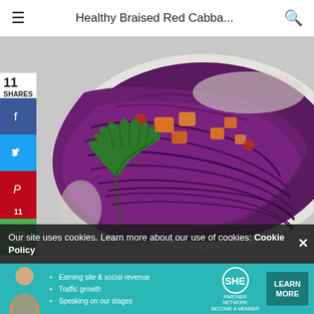Healthy Braised Red Cabba...
[Figure (photo): A white ceramic baking dish filled with braised red/purple cabbage with orange carrots and fresh green parsley garnish, photographed from above on a light gray background]
11 SHARES
[Figure (infographic): Social sharing sidebar with Facebook (f), Twitter, Pinterest (P with count 11), and email buttons]
Our site uses cookies. Learn more about our use of cookies: Cookie Policy
[Figure (infographic): SHE Partner Network advertisement banner with person photo, bullet points: Earning site & social revenue, Traffic growth, Speaking on our stages, BECOME A MEMBER, and LEARN MORE button]